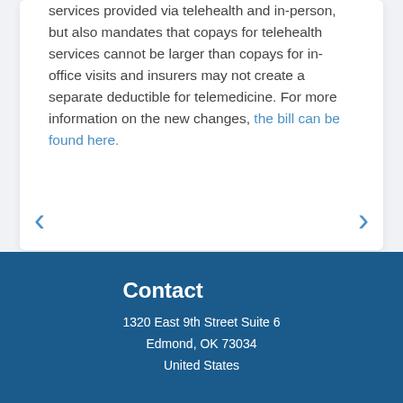services provided via telehealth and in-person, but also mandates that copays for telehealth services cannot be larger than copays for in-office visits and insurers may not create a separate deductible for telemedicine. For more information on the new changes, the bill can be found here.
Contact
1320 East 9th Street Suite 6
Edmond, OK 73034
United States